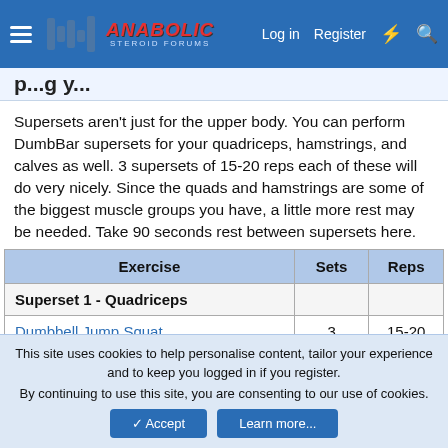Anabolic Steroid Forums — Navigation bar with Log in, Register links
p...g y... (partial, cut off)
Supersets aren't just for the upper body. You can perform DumbBar supersets for your quadriceps, hamstrings, and calves as well. 3 supersets of 15-20 reps each of these will do very nicely. Since the quads and hamstrings are some of the biggest muscle groups you have, a little more rest may be needed. Take 90 seconds rest between supersets here.
| Exercise | Sets | Reps |
| --- | --- | --- |
| Superset 1 - Quadriceps |  |  |
| Dumbbell Jump Squat | 3 | 15-20 |
| Barbell Front Squat | 3 | 15-20 |
| Superset 2 - Hamstrings |  |  |
| Platform Lunge with Dumbbells | 3 | 15-20 |
This site uses cookies to help personalise content, tailor your experience and to keep you logged in if you register. By continuing to use this site, you are consenting to our use of cookies.